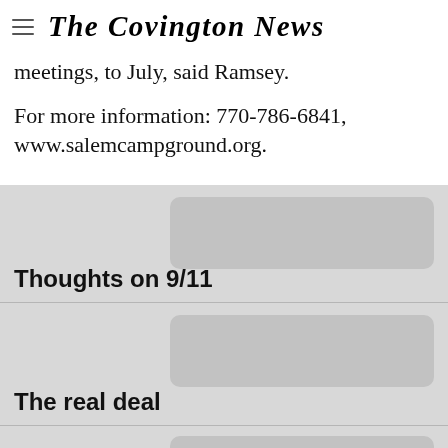The Covington News
meetings, to July, said Ramsey.
For more information: 770-786-6841, www.salemcampground.org.
[Figure (other): News article card thumbnail placeholder image with rounded corners, gray background, titled 'Thoughts on 9/11']
[Figure (other): News article card thumbnail placeholder image with rounded corners, gray background, titled 'The real deal']
[Figure (other): News article card thumbnail placeholder image with rounded corners, gray background, partially visible at bottom]